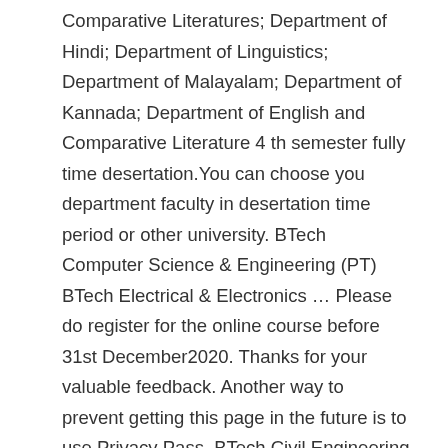Comparative Literatures; Department of Hindi; Department of Linguistics; Department of Malayalam; Department of Kannada; Department of English and Comparative Literature 4 th semester fully time desertation.You can choose you department faculty in desertation time period or other university. BTech Computer Science & Engineering (PT) BTech Electrical & Electronics … Please do register for the online course before 31st December2020. Thanks for your valuable feedback. Another way to prevent getting this page in the future is to use Privacy Pass. BTech Civil Engineering (PT) BTech Computer Science & Engineering. This is a Central Government institution established directly by the Parliament of India under the Central Universities act of 2009. The university offers various undergraduate and postgraduate courses like BA, MA, M.Sc, M.Ed, etc. Central University of Kerala will